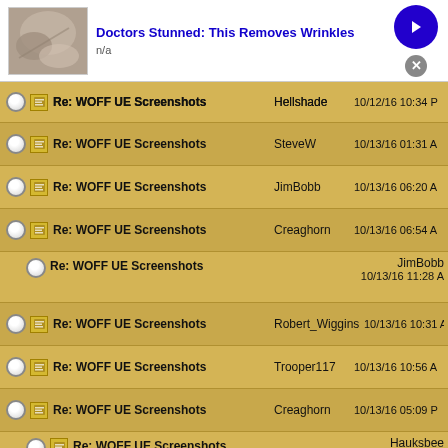[Figure (screenshot): Ad banner: image of skin/wrinkles, title 'Doctors Stunned: This Removes Wrinkles', n/a, blue arrow button, close X]
| Select | Icon | Subject | Author | Date |
| --- | --- | --- | --- | --- |
|  |  | Re: WOFF UE Screenshots | Hellshade | 10/12/16 10:34 PM |
|  |  | Re: WOFF UE Screenshots | SteveW | 10/13/16 01:31 AM |
|  |  | Re: WOFF UE Screenshots | JimBobb | 10/13/16 06:20 AM |
|  |  | Re: WOFF UE Screenshots | Creaghorn | 10/13/16 06:54 AM |
|  |  | Re: WOFF UE Screenshots | JimBobb | 10/13/16 11:28 AM |
|  |  | Re: WOFF UE Screenshots | Robert_Wiggins | 10/13/16 10:31 AM |
|  |  | Re: WOFF UE Screenshots | Trooper117 | 10/13/16 10:56 AM |
|  |  | Re: WOFF UE Screenshots | Creaghorn | 10/13/16 05:09 PM |
|  |  | Re: WOFF UE Screenshots | Hauksbee | 10/15/16 03:19 PM |
[Figure (screenshot): Ad banner: image of slot machine/person, title '3 Steps to Tell a Slot Might Be Close to', n/a, blue arrow button, close X]